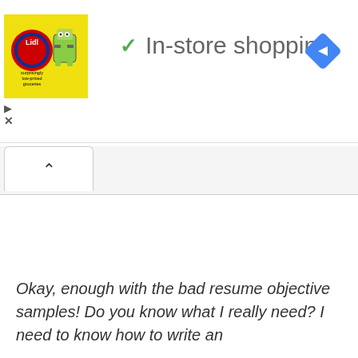[Figure (screenshot): Screenshot of a mobile browser UI showing an advertisement for Lidl grocery shopping (yellow square ad with Lidl branding and cartoon characters), a checkmark icon, and the text 'In-store shopping', plus a blue diamond navigation icon on the right, ad play and close controls, and a tab bar with an expanded tab (up-caret).]
Okay, enough with the bad resume objective samples! Do you know what I really need? I need to know how to write an